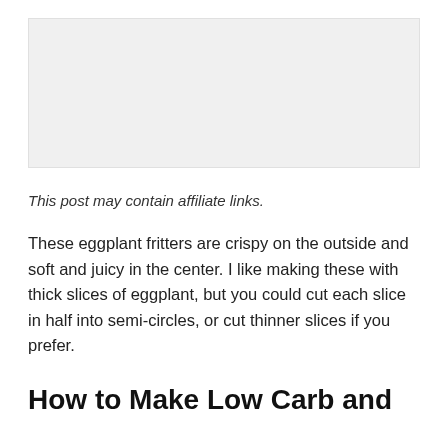[Figure (photo): Image placeholder / photo area at top of page]
This post may contain affiliate links.
These eggplant fritters are crispy on the outside and soft and juicy in the center. I like making these with thick slices of eggplant, but you could cut each slice in half into semi-circles, or cut thinner slices if you prefer.
How to Make Low Carb and